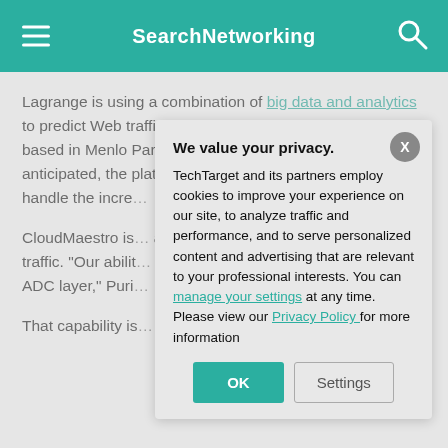SearchNetworking
Lagrange is using a combination of big data and analytics to predict Web traffic, said Sonal Puri, CEO of Lagrange, based in Menlo Park, Calif.; if a sharp uptick in demand is anticipated, the platform spins up new ADC instances a... handle the incre...
CloudMaestro is... application level... might be transac... traffic. "Our abilit... extended into th... spin up instance... ADC layer," Puri...
That capability is...
We value your privacy.
TechTarget and its partners employ cookies to improve your experience on our site, to analyze traffic and performance, and to serve personalized content and advertising that are relevant to your professional interests. You can manage your settings at any time. Please view our Privacy Policy for more information